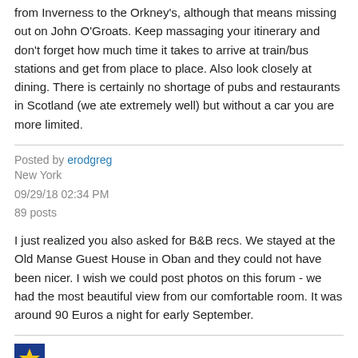from Inverness to the Orkney's, although that means missing out on John O'Groats. Keep massaging your itinerary and don't forget how much time it takes to arrive at train/bus stations and get from place to place. Also look closely at dining. There is certainly no shortage of pubs and restaurants in Scotland (we ate extremely well) but without a car you are more limited.
Posted by erodgreg
New York
09/29/18 02:34 PM
89 posts
I just realized you also asked for B&B recs. We stayed at the Old Manse Guest House in Oban and they could not have been nicer. I wish we could post photos on this forum - we had the most beautiful view from our comfortable room. It was around 90 Euros a night for early September.
[Figure (illustration): Blue square icon with a yellow star in the center]